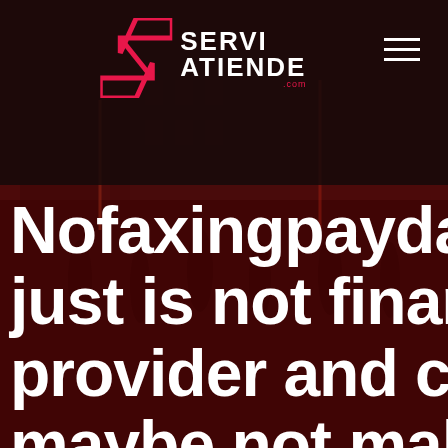[Figure (photo): Dark background image of a busy city street with pedestrians and buildings, heavily tinted with a dark red/maroon overlay]
SERVIATIENDE.com
Nofaxingpaydayloan just is not financing provider and certain maybe not make lo...